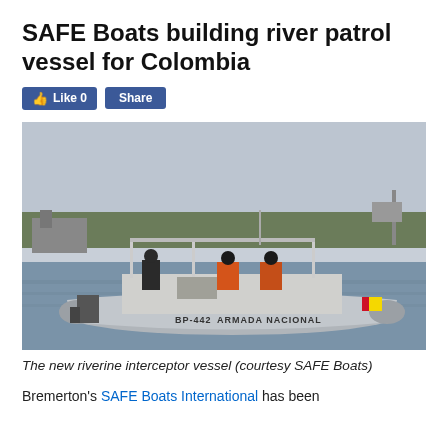SAFE Boats building river patrol vessel for Colombia
[Figure (photo): A riverine interceptor patrol vessel marked 'BP-442 ARMADA NACIONAL' on the water with crew members aboard, taken in a harbor area with trees and buildings in the background. Courtesy SAFE Boats.]
The new riverine interceptor vessel (courtesy SAFE Boats)
Bremerton's SAFE Boats International has been